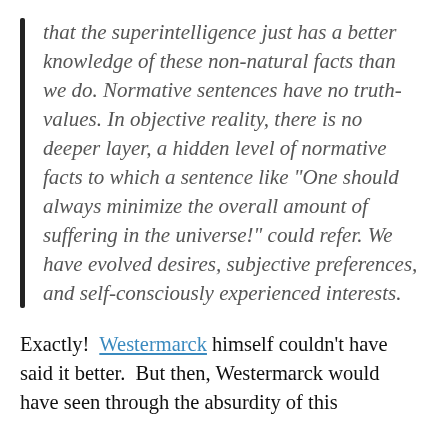that the superintelligence just has a better knowledge of these non-natural facts than we do. Normative sentences have no truth-values. In objective reality, there is no deeper layer, a hidden level of normative facts to which a sentence like “One should always minimize the overall amount of suffering in the universe!” could refer. We have evolved desires, subjective preferences, and self-consciously experienced interests.
Exactly!  Westermarck himself couldn’t have said it better.  But then, Westermarck would have seen through the absurdity of this